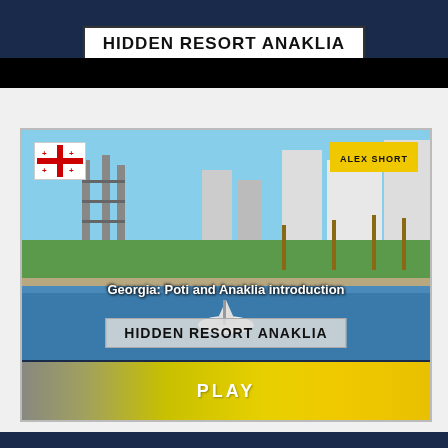[Figure (screenshot): Top portion of a video player interface showing 'HIDDEN RESORT ANAKLIA' title on dark navy background with black bar below]
[Figure (screenshot): Video thumbnail card for 'Georgia: Poti and Anaklia introduction' / 'HIDDEN RESORT ANAKLIA' video by Alex Short, showing aerial view of Anaklia waterfront with Georgian flag overlay, yellow ALEX SHORT badge, boat on water, and PLAY button at bottom]